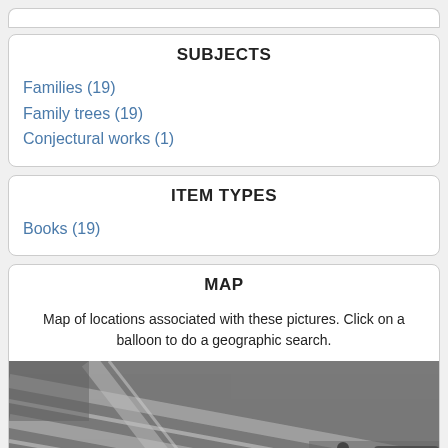SUBJECTS
Families (19)
Family trees (19)
Conjectural works (1)
ITEM TYPES
Books (19)
MAP
Map of locations associated with these pictures. Click on a balloon to do a geographic search.
[Figure (map): Satellite/aerial map view showing a street intersection with a red location pin marker. People and a vehicle are visible. Google Maps watermark partially visible.]